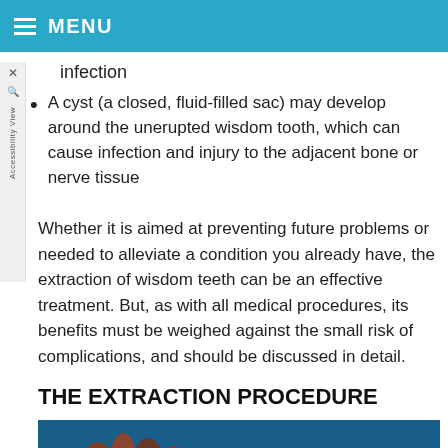MENU
infection
A cyst (a closed, fluid-filled sac) may develop around the unerupted wisdom tooth, which can cause infection and injury to the adjacent bone or nerve tissue
Whether it is aimed at preventing future problems or needed to alleviate a condition you already have, the extraction of wisdom teeth can be an effective treatment. But, as with all medical procedures, its benefits must be weighed against the small risk of complications, and should be discussed in detail.
THE EXTRACTION PROCEDURE
[Figure (photo): Close-up photo of impacted wisdom teeth (extracted teeth shown against blue background) with label arrow pointing to 'Impacted Wisdom Teeth']